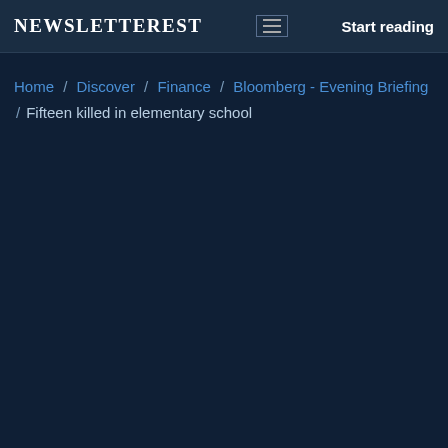NEWSLETTEREST  Start reading
Home / Discover / Finance / Bloomberg - Evening Briefing / Fifteen killed in elementary school